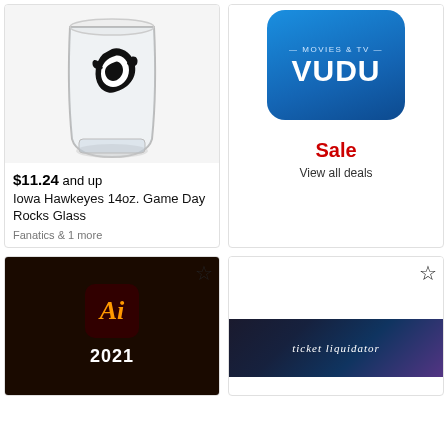[Figure (photo): Iowa Hawkeyes 14oz Game Day Rocks Glass with Tigerhawk logo on a clear glass]
$11.24 and up
Iowa Hawkeyes 14oz. Game Day Rocks Glass
Fanatics & 1 more
[Figure (logo): VUDU Movies & TV app icon with blue gradient background]
Sale
View all deals
[Figure (screenshot): Adobe Illustrator 2021 dark splash screen with Ai logo in orange on dark red background]
[Figure (logo): Ticket Liquidator banner on dark colorful background]